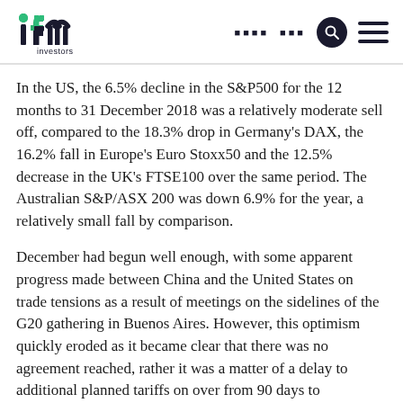ifm investors
In the US, the 6.5% decline in the S&P500 for the 12 months to 31 December 2018 was a relatively moderate sell off, compared to the 18.3% drop in Germany's DAX, the 16.2% fall in Europe's Euro Stoxx50 and the 12.5% decrease in the UK's FTSE100 over the same period. The Australian S&P/ASX 200 was down 6.9% for the year, a relatively small fall by comparison.
December had begun well enough, with some apparent progress made between China and the United States on trade tensions as a result of meetings on the sidelines of the G20 gathering in Buenos Aires. However, this optimism quickly eroded as it became clear that there was no agreement reached, rather it was a matter of a delay to additional planned tariffs on over from 90 days to...